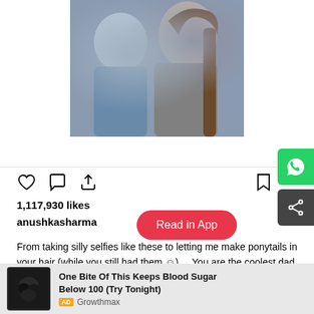[Figure (photo): Cropped photo showing two people taking a selfie; one in a blue shirt, one in a grey t-shirt with long brown hair]
View more on Instagram
1,117,930 likes
anushkasharma
From taking silly selfies like these to letting me make ponytails in your hair (while you still had them ☺) ... You are the coolest dad a girl can have and are THE best inspiration . Thank you for teachir                                                                                                     d it is or wha #MyHe
One Bite Of This Keeps Blood Sugar Below 100 (Try Tonight) AD Growthmax